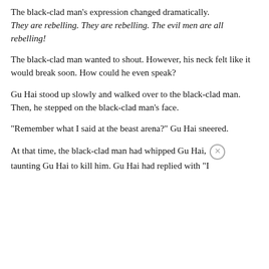The black-clad man's expression changed dramatically. They are rebelling. They are rebelling. The evil men are all rebelling!
The black-clad man wanted to shout. However, his neck felt like it would break soon. How could he even speak?
Gu Hai stood up slowly and walked over to the black-clad man. Then, he stepped on the black-clad man’s face.
“Remember what I said at the beast arena?” Gu Hai sneered.
At that time, the black-clad man had whipped Gu Hai, taunting Gu Hai to kill him. Gu Hai had replied with “I